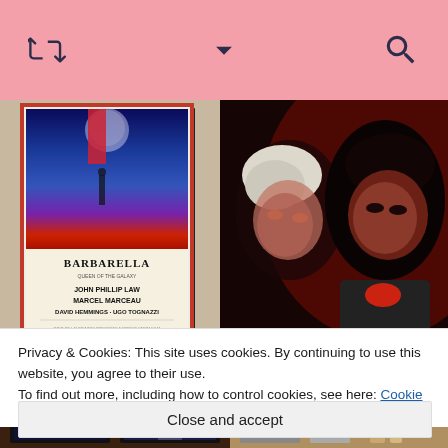[Figure (screenshot): Pink navigation bar with retweet icon on left, chevron/dropdown in center, and search icon on right]
[Figure (photo): Barbarella movie poster showing John Phillip Law, Marcel Marceau, David Hemmings, Ugo Tognazzi]
[Figure (photo): Two people with white and dark hair shot in dramatic red lighting, close-up]
[Figure (photo): Partial view of what appears to be framed artwork or posters on a surface]
Privacy & Cookies: This site uses cookies. By continuing to use this website, you agree to their use.
To find out more, including how to control cookies, see here: Cookie Policy
Close and accept